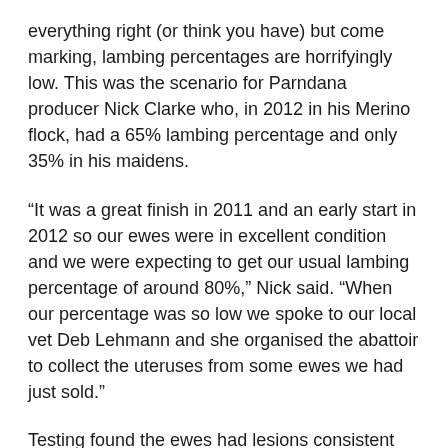everything right (or think you have) but come marking, lambing percentages are horrifyingly low. This was the scenario for Parndana producer Nick Clarke who, in 2012 in his Merino flock, had a 65% lambing percentage and only 35% in his maidens.
“It was a great finish in 2011 and an early start in 2012 so our ewes were in excellent condition and we were expecting to get our usual lambing percentage of around 80%,” Nick said. “When our percentage was so low we spoke to our local vet Deb Lehmann and she organised the abattoir to collect the uteruses from some ewes we had just sold.”
Testing found the ewes had lesions consistent with oestrogenic issues so Deb then collected pasture samples which confirmed the diagnosis – high levels of oestrogenic clovers.
“We knew something was wrong as we heavily hand-feed